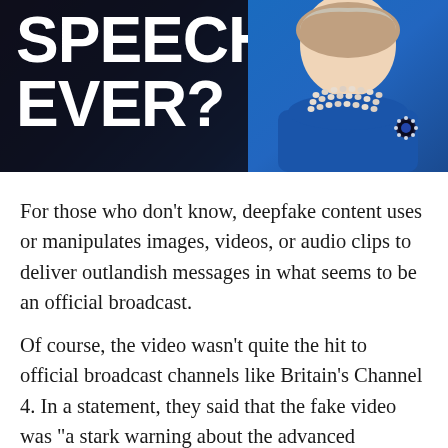[Figure (photo): Partial image of a woman in a blue outfit with pearl necklaces and a brooch, against a dark background with large white bold text reading 'SPEECH EVER?' visible at the top left.]
For those who don't know, deepfake content uses or manipulates images, videos, or audio clips to deliver outlandish messages in what seems to be an official broadcast.
Of course, the video wasn't quite the hit to official broadcast channels like Britain's Channel 4. In a statement, they said that the fake video was “a stark warning about the advanced technology that is enabling the proliferation of misinformation and fake news in a